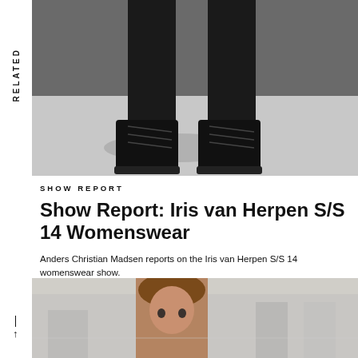[Figure (photo): Black and white photo of model's legs wearing black lace-up boots on a grey surface]
SHOW REPORT
Show Report: Iris van Herpen S/S 14 Womenswear
Anders Christian Madsen reports on the Iris van Herpen S/S 14 womenswear show.
PARIS COLLECTIONS
S/S 14 COMMENTARY
[Figure (photo): Fashion runway photo of a model with brown hair at what appears to be a fashion show]
RELATED